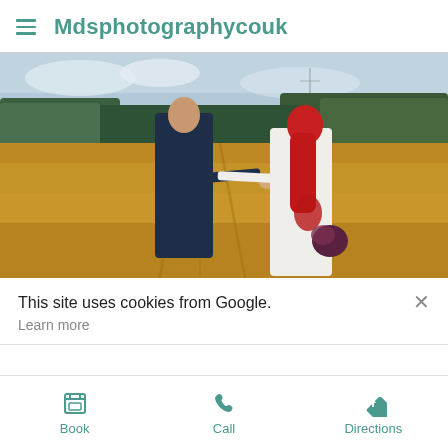Mdsphotographycouk
[Figure (photo): A bride with vivid red hair in a white wedding dress and a groom in a dark navy suit walking hand-in-hand through a golden wheat field, viewed from behind, with green trees and a cloudy sky in the background.]
This site uses cookies from Google.
Learn more
Book  Call  Directions